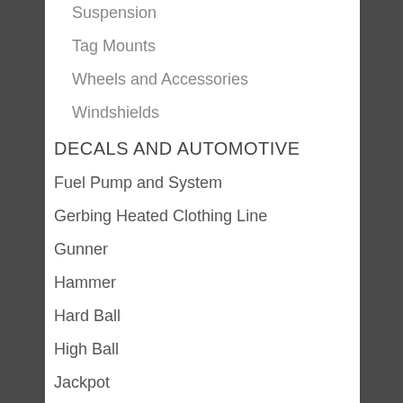Suspension
Tag Mounts
Wheels and Accessories
Windshields
DECALS AND AUTOMOTIVE
Fuel Pump and System
Gerbing Heated Clothing Line
Gunner
Hammer
Hard Ball
High Ball
Jackpot